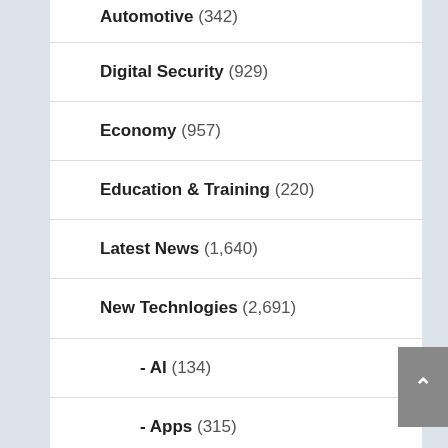Automotive (342)
Digital Security (929)
Economy (957)
Education & Training (220)
Latest News (1,640)
New Technlogies (2,691)
- AI (134)
- Apps (315)
- Computer (268)
- Health (192)